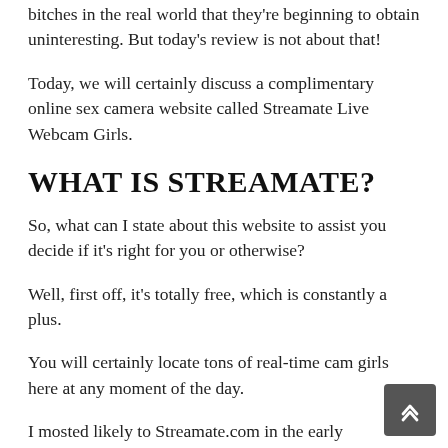bitches in the real world that they're beginning to obtain uninteresting. But today's review is not about that!
Today, we will certainly discuss a complimentary online sex camera website called Streamate Live Webcam Girls.
WHAT IS STREAMATE?
So, what can I state about this website to assist you decide if it's right for you or otherwise?
Well, first off, it's totally free, which is constantly a plus.
You will certainly locate tons of real-time cam girls here at any moment of the day.
I mosted likely to Streamate.com in the early